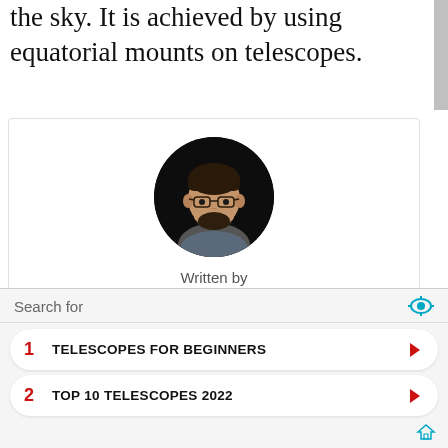the sky. It is achieved by using equatorial mounts on telescopes.
[Figure (photo): Circular portrait photo of author Bipro Das, a man with glasses and beard against a dark background]
Written by
Bipro Das
Biprojit has been a staff writer at RankRed since 2015. He mainly focuses on game-changing inventions but also covers general science with a particular interest in astronomy. His domain
Search for
1  TELESCOPES FOR BEGINNERS
2  TOP 10 TELESCOPES 2022